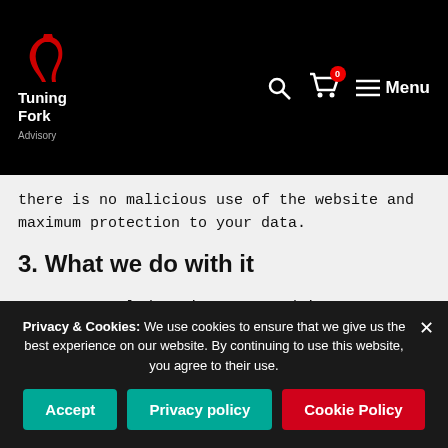Tuning Fork Advisory — navigation header with logo, search, cart (0), and Menu
there is no malicious use of the website and maximum protection to your data.
3. What we do with it
Your personal data is processed in our offices in St. Julian's located in Malta. Hosting and storage of your data takes place in our Zoho Cloud-based system which is located in the EU and US.
Privacy & Cookies: We use cookies to ensure that we give us the best experience on our website. By continuing to use this website, you agree to their use.